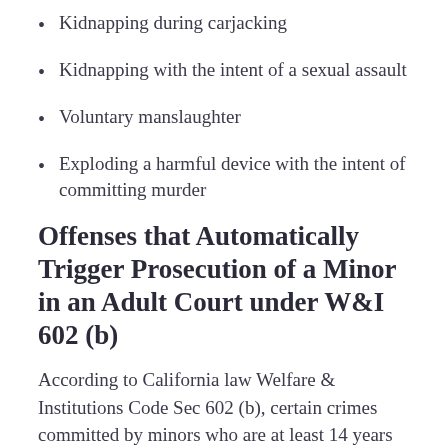Kidnapping during carjacking
Kidnapping with the intent of a sexual assault
Voluntary manslaughter
Exploding a harmful device with the intent of committing murder
Offenses that Automatically Trigger Prosecution of a Minor in an Adult Court under W&I 602 (b)
According to California law Welfare & Institutions Code Sec 602 (b), certain crimes committed by minors who are at least 14 years old are automatically tried in an adult court. The crimes